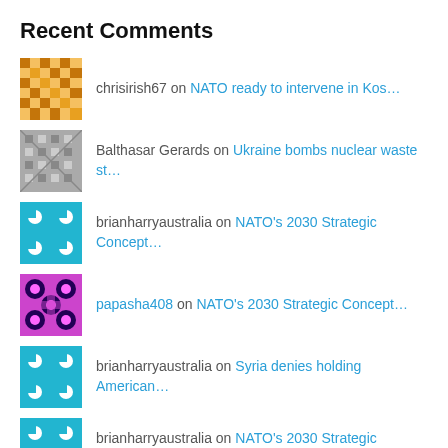Recent Comments
chrisirish67 on NATO ready to intervene in Kos…
Balthasar Gerards on Ukraine bombs nuclear waste st…
brianharryaustralia on NATO's 2030 Strategic Concept…
papasha408 on NATO's 2030 Strategic Concept…
brianharryaustralia on Syria denies holding American…
brianharryaustralia on NATO's 2030 Strategic Concept…
brianharryaustralia on US recent ballistic missile te…
brianharryaustralia on US to Deploy Strategic Assets…
brianharryaustralia on Children Don't Need COVID Vacc…
jbthring on The Timing Behind the Atttack…